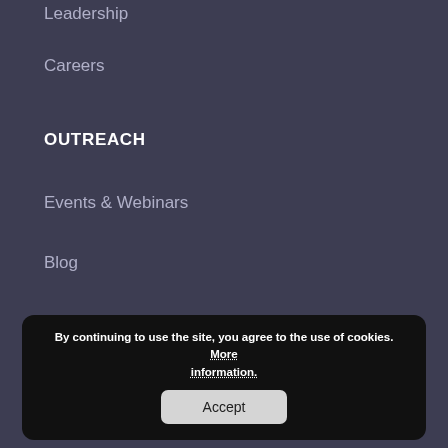Leadership
Careers
OUTREACH
Events & Webinars
Blog
Contact
[Figure (logo): OMNY HEALTH logo — circular ring icon with OMNY in bold and HEALTH below in spaced caps]
By continuing to use the site, you agree to the use of cookies. More information. Accept